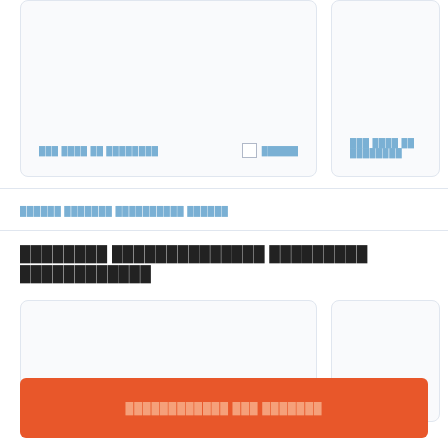[Figure (screenshot): Two form card panels side by side. Left card has a label text in blue and a checkbox with label. Right card has a label text in blue.]
██████ ███████ ██████████ ██████
████████ ██████████████ █████████ ████████████
[Figure (screenshot): Two empty form card panels side by side at the bottom of the page.]
████████████ ███ ███████